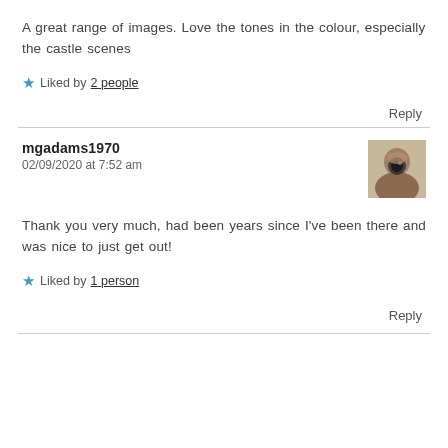A great range of images. Love the tones in the colour, especially the castle scenes
Liked by 2 people
Reply
mgadams1970
02/09/2020 at 7:52 am
Thank you very much, had been years since I've been there and was nice to just get out!
Liked by 1 person
Reply